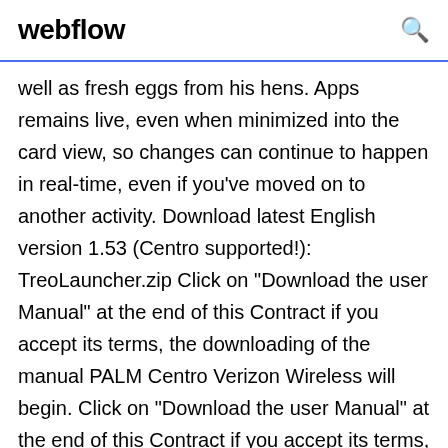webflow
well as fresh eggs from his hens. Apps remains live, even when minimized into the card view, so changes can continue to happen in real-time, even if you've moved on to another activity. Download latest English version 1.53 (Centro supported!): TreoLauncher.zip Click on "Download the user Manual" at the end of this Contract if you accept its terms, the downloading of the manual PALM Centro Verizon Wireless will begin. Click on "Download the user Manual" at the end of this Contract if you accept its terms, the downloading of the manual PALM Centro BELL Mobility will begin.

Read reviews, compare customer ratings, see